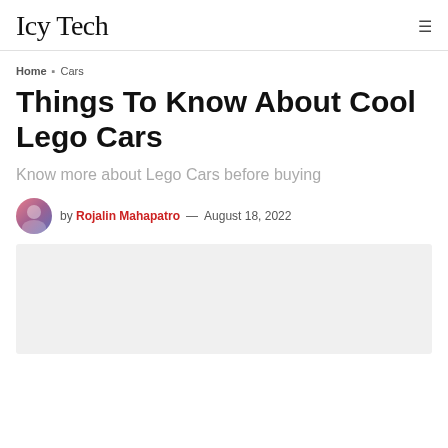Icy Tech
Home ▸ Cars
Things To Know About Cool Lego Cars
Know more about Lego Cars before buying
by Rojalin Mahapatro — August 18, 2022
[Figure (photo): Featured image placeholder — light gray rectangle]